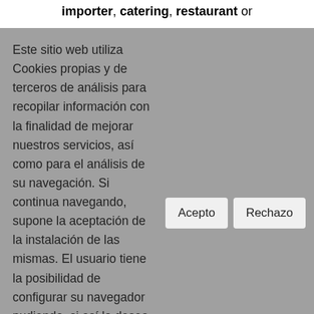importer, catering, restaurant or
Este sitio web utiliza Cookies propias y de terceros de análisis para recopilar información con la finalidad de mejorar nuestros servicios, así como para el análisis de su navegación. Si continua navegando, supone la aceptación de la instalación de las mismas. El usuario tiene la posibilidad de configurar su navegador pudiendo, si así lo desea, impedir que sean instaladas en su disco duro, aunque deberá tener en cuenta que dicha acción podrá ocasionar dificultades de navegación de la página web. Política de Cookies